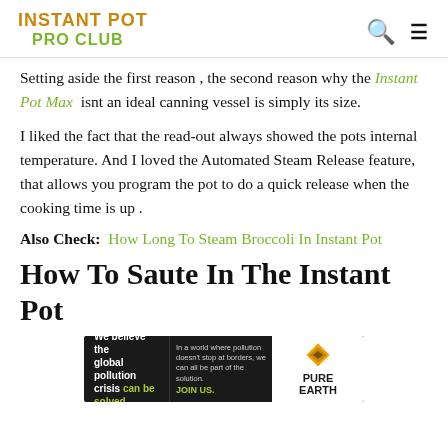INSTANT POT PRO CLUB
Setting aside the first reason , the second reason why the Instant Pot Max  isnt an ideal canning vessel is simply its size.
I liked the fact that the read-out always showed the pots internal temperature. And I loved the Automated Steam Release feature, that allows you program the pot to do a quick release when the cooking time is up .
Also Check:  How Long To Steam Broccoli In Instant Pot
How To Saute In The Instant Pot
[Figure (other): Pure Earth advertisement banner: 'We believe the global pollution crisis can be solved.' with Pure Earth logo.]